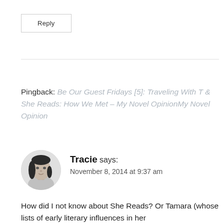Reply
Pingback: Be Our Guest Fridays [5]: Traveling With T & She Reads: How We Met – My Novel OpinionMy Novel Opinion
Tracie says: November 8, 2014 at 9:37 am
How did I not know about She Reads? Or Tamara (whose lists of early literary influences in her